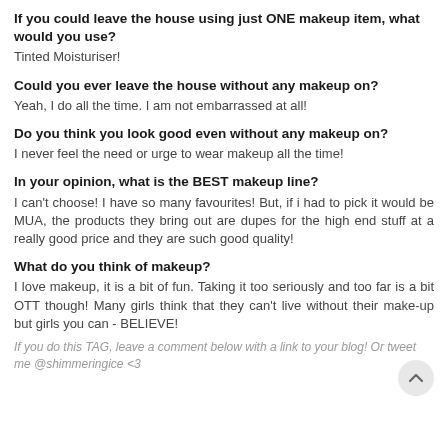If you could leave the house using just ONE makeup item, what would you use?
Tinted Moisturiser!
Could you ever leave the house without any makeup on?
Yeah, I do all the time. I am not embarrassed at all!
Do you think you look good even without any makeup on?
I never feel the need or urge to wear makeup all the time!
In your opinion, what is the BEST makeup line?
I can't choose! I have so many favourites! But, if i had to pick it would be MUA, the products they bring out are dupes for the high end stuff at a really good price and they are such good quality!
What do you think of makeup?
I love makeup, it is a bit of fun. Taking it too seriously and too far is a bit OTT though! Many girls think that they can't live without their make-up but girls you can - BELIEVE!
If you do this TAG, leave a comment below with a link to your blog! Or tweet me @shimmeringice <3